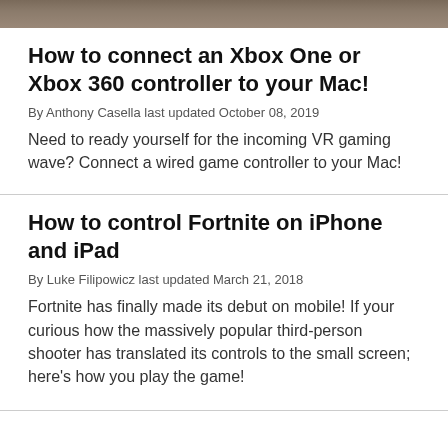[Figure (photo): Partial image strip at top of page showing a dark/earthy toned background]
How to connect an Xbox One or Xbox 360 controller to your Mac!
By Anthony Casella last updated October 08, 2019
Need to ready yourself for the incoming VR gaming wave? Connect a wired game controller to your Mac!
How to control Fortnite on iPhone and iPad
By Luke Filipowicz last updated March 21, 2018
Fortnite has finally made its debut on mobile! If your curious how the massively popular third-person shooter has translated its controls to the small screen; here's how you play the game!